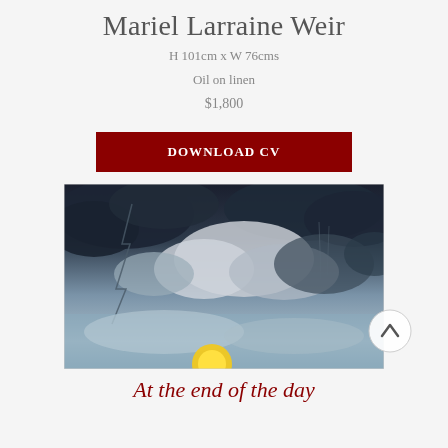Mariel Larraine Weir
H 101cm x W 76cms
Oil on linen
$1,800
DOWNLOAD CV
[Figure (photo): Oil painting of a dramatic stormy sky with dark clouds, a lightning bolt on the left, and a yellow glowing sun or moon near the bottom center. Painted in oils on linen with blue-grey tones.]
At the end of the day